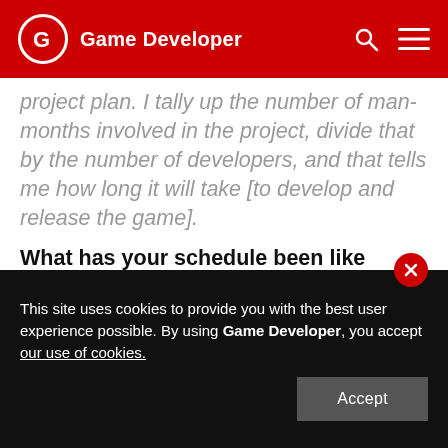Game Developer
project plan. I tally up the number of man-months involved in the project, divide that by the number of developers, and that tells me how long it will take [to develop and release the game].
What has your schedule been like lately? What's the current top priority?
Today, my main focus has been trying to get exposure for the game in new places. I've been trying to contact guys who run these YouTube channels, which are very popular. I did a
This site uses cookies to provide you with the best user experience possible. By using Game Developer, you accept our use of cookies.